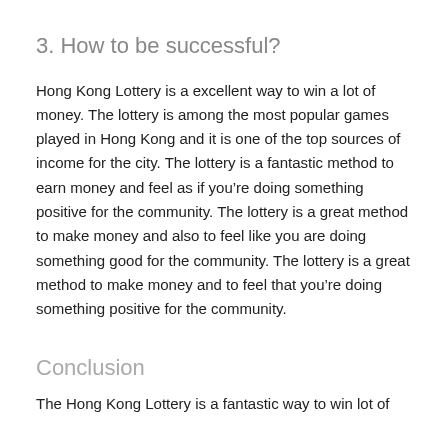3. How to be successful?
Hong Kong Lottery is a excellent way to win a lot of money. The lottery is among the most popular games played in Hong Kong and it is one of the top sources of income for the city. The lottery is a fantastic method to earn money and feel as if you’re doing something positive for the community. The lottery is a great method to make money and also to feel like you are doing something good for the community. The lottery is a great method to make money and to feel that you’re doing something positive for the community.
Conclusion
The Hong Kong Lottery is a fantastic way to win lot of